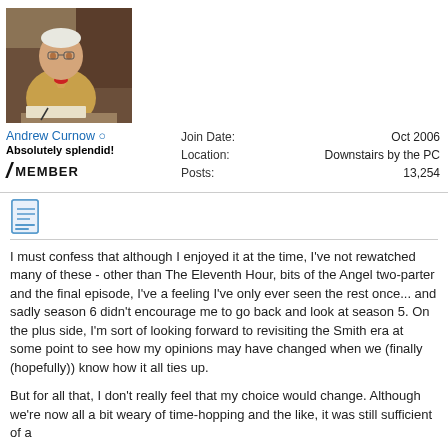[Figure (photo): Avatar photo of a person writing, wearing a yellow/tan sweater with red accessory, appears to be reading or writing at a table]
Andrew Curnow ○
Absolutely splendid!
/ MEMBER
| Join Date: | Oct 2006 |
| Location: | Downstairs by the PC |
| Posts: | 13,254 |
[Figure (other): Document/notepad icon]
I must confess that although I enjoyed it at the time, I've not rewatched many of these - other than The Eleventh Hour, bits of the Angel two-parter and the final episode, I've a feeling I've only ever seen the rest once... and sadly season 6 didn't encourage me to go back and look at season 5. On the plus side, I'm sort of looking forward to revisiting the Smith era at some point to see how my opinions may have changed when we (finally (hopefully)) know how it all ties up.
But for all that, I don't really feel that my choice would change. Although we're now all a bit weary of time-hopping and the like, it was still sufficient of a